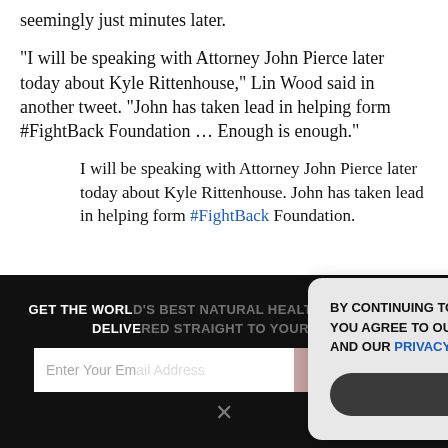seemingly just minutes later.
“I will be speaking with Attorney John Pierce later today about Kyle Rittenhouse,” Lin Wood said in another tweet. “John has taken lead in helping form #FightBack Foundation … Enough is enough.”
I will be speaking with Attorney John Pierce later today about Kyle Rittenhouse. John has taken lead in helping form #FightBack Foundation.
GET THE WORLD’S BEST NATURAL HEALTH NEWSLETTER DELIVERED STRAIGHT TO YOUR INBOX
Enter Your Email Address
SUBSCRIBE
BY CONTINUING TO BROWSE OUR SITE YOU AGREE TO OUR USE OF COOKIES AND OUR PRIVACY POLICY.
Agree and close